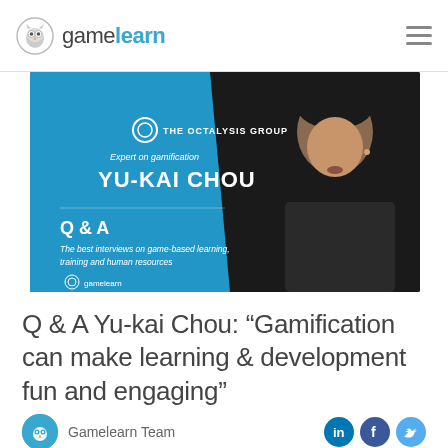gamelearn
[Figure (photo): Promotional image for Q&A interview with Yu-kai Chou, Expert on gamification from The Octalysis Group. Blue background on left with text, photo of Yu-kai Chou speaking on right.]
Q & A Yu-kai Chou: “Gamification can make learning & development fun and engaging”
Gamelearn Team